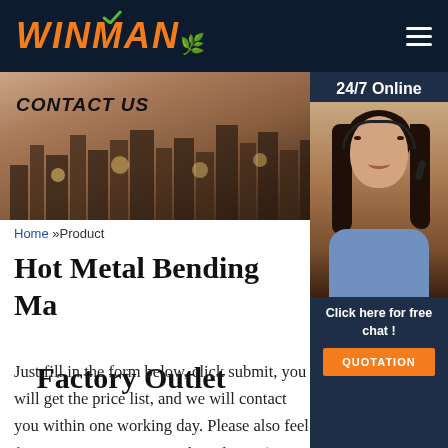WINMAN
[Figure (photo): Banner image showing city skyline with CONTACT US text overlay, sepia/warm toned]
[Figure (photo): 24/7 Online customer service agent photo with headset, sidebar panel with quotation button]
Home »Product
Hot Metal Bending Ma... Factory Outlet
Just fill in the form below, click submit, you will get the price list, and we will contact you within one working day. Please also feel free to contact us via email or phone. (* is required).